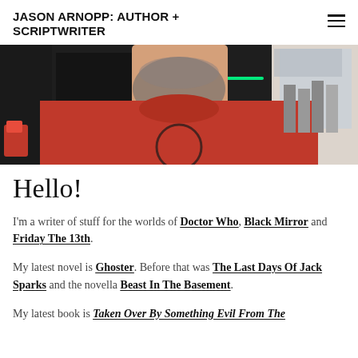JASON ARNOPP: AUTHOR + SCRIPTWRITER
[Figure (photo): Cropped photo of a man wearing a red t-shirt with a beard, pictured from chin to torso, in what appears to be an interior space with shelves in the background.]
Hello!
I'm a writer of stuff for the worlds of Doctor Who, Black Mirror and Friday The 13th.
My latest novel is Ghoster. Before that was The Last Days Of Jack Sparks and the novella Beast In The Basement.
My latest book is Taken Over By Something Evil From The